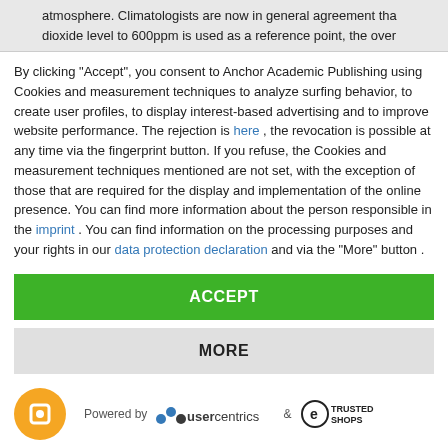atmosphere. Climatologists are now in general agreement that… dioxide level to 600ppm is used as a reference point, the overa…
By clicking "Accept", you consent to Anchor Academic Publishing using Cookies and measurement techniques to analyze surfing behavior, to create user profiles, to display interest-based advertising and to improve website performance. The rejection is here , the revocation is possible at any time via the fingerprint button. If you refuse, the Cookies and measurement techniques mentioned are not set, with the exception of those that are required for the display and implementation of the online presence. You can find more information about the person responsible in the imprint . You can find information on the processing purposes and your rights in our data protection declaration and via the "More" button .
ACCEPT
MORE
[Figure (logo): Usercentrics and Trusted Shops powered by logos at the bottom of the cookie consent dialog]